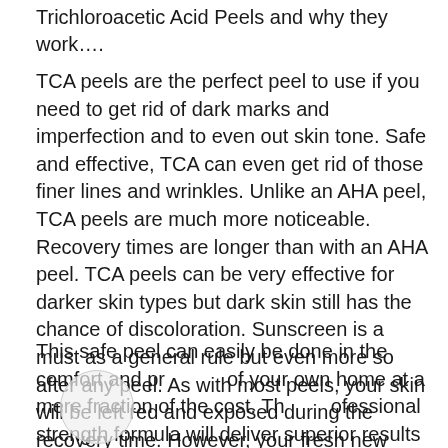Trichloroacetic Acid Peels and why they work….
TCA peels are the perfect peel to use if you need to get rid of dark marks and imperfection and to even out skin tone. Safe and effective, TCA can even get rid of those finer lines and wrinkles. Unlike an AHA peel, TCA peels are much more noticeable. Recovery times are longer than with an AHA peel. TCA peels can be very effective for darker skin types but dark skin still has the chance of discoloration. Sunscreen is a must as a general rule but even more so after any peel. As with most peels, your skin will be left red and exposed during the recovery time. However, your fresh new healthy skin will emerge quickly.
This safe peel can easily be done in the comfort and privacy of your own home at a mere fraction of the cost. The professional strength formula will deliver superior results for hundreds less. Your skin will be softer, smoother